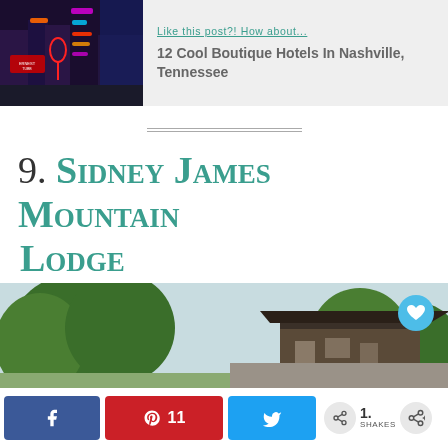[Figure (photo): Related post card with photo of Nashville neon signs at night and text link]
Like this post?! How about...
12 Cool Boutique Hotels In Nashville, Tennessee
9. Sidney James Mountain Lodge
[Figure (photo): Exterior photo of Sidney James Mountain Lodge showing trees and roofline]
[Figure (other): Social sharing bar with Facebook, Pinterest (11 saves), Twitter buttons and share count 1. SHARES]